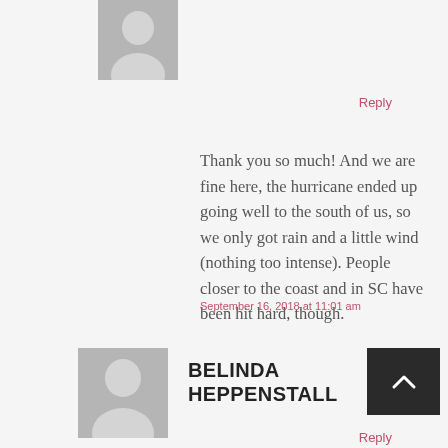[Figure (illustration): Gray avatar placeholder image of a person silhouette at top]
Reply
Thank you so much! And we are fine here, the hurricane ended up going well to the south of us, so we only got rain and a little wind (nothing too intense). People closer to the coast and in SC have been hit hard, though.
September 16, 2018 at 11:01 am
[Figure (illustration): Gray avatar placeholder image of a person silhouette at bottom]
BELINDA HEPPENSTALL
[Figure (other): Dark gray/black box with upward arrow chevron icon]
Reply
Recollecting to share and...